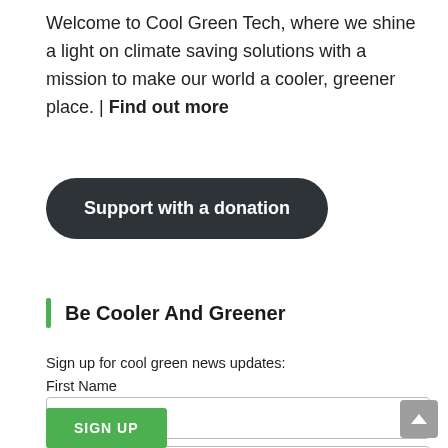Welcome to Cool Green Tech, where we shine a light on climate saving solutions with a mission to make our world a cooler, greener place. | Find out more
[Figure (other): Dark rounded button with white bold text: 'Support with a donation']
Be Cooler And Greener
Sign up for cool green news updates:
First Name
[Figure (other): Empty text input field for First Name]
[Figure (other): Text input field with placeholder 'Your email address']
[Figure (other): Green 'SIGN UP' button (partially visible at bottom)]
[Figure (other): Grey scroll-to-top button with upward arrow at bottom right]